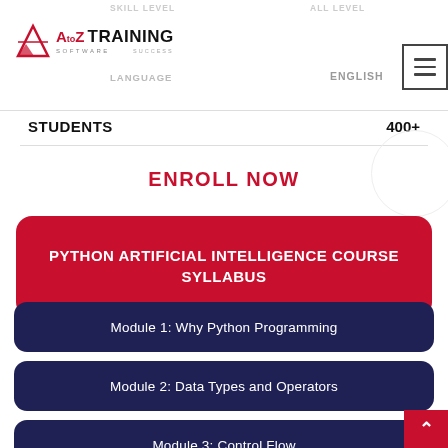SKILL LEVEL   ALL LEVEL   LANGUAGE   ENGLISH
[Figure (logo): A to Z Software Training logo with stylized bird icon and red/black text]
STUDENTS   400+
ENROLL NOW
PYTHON ARTIFICIAL INTELLIGENCE COURSE SYLLABUS
Module 1: Why Python Programming
Module 2: Data Types and Operators
Module 3: Control Flow